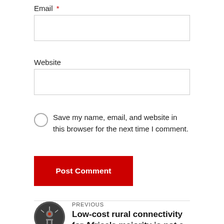Email *
Website
Save my name, email, and website in this browser for the next time I comment.
Post Comment
PREVIOUS
Low-cost rural connectivity for Africa's majority is not a pipe-dream